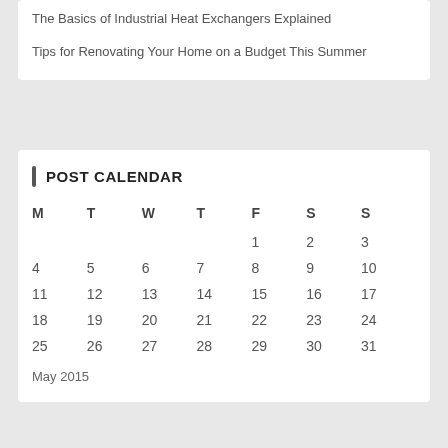The Basics of Industrial Heat Exchangers Explained
Tips for Renovating Your Home on a Budget This Summer
POST CALENDAR
| M | T | W | T | F | S | S |
| --- | --- | --- | --- | --- | --- | --- |
|  |  |  |  | 1 | 2 | 3 |
| 4 | 5 | 6 | 7 | 8 | 9 | 10 |
| 11 | 12 | 13 | 14 | 15 | 16 | 17 |
| 18 | 19 | 20 | 21 | 22 | 23 | 24 |
| 25 | 26 | 27 | 28 | 29 | 30 | 31 |
May 2015